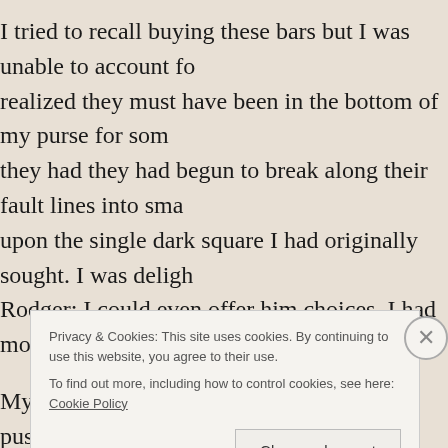I tried to recall buying these bars but I was unable to account fo realized they must have been in the bottom of my purse for som they had they had begun to break along their fault lines into sma upon the single dark square I had originally sought. I was deligh Rodger; I could even offer him choices. I had more than enough
My alarm went off. I got out of bed and pushed the dream to the sat in church, I woke up with a jolt: Nails. Palm. OH.
I recounted last night's dream to my husband as we took a long saw what I had completely missed. And now, as I sit here finish wonder about something else. I had assumed the man had intend
Privacy & Cookies: This site uses cookies. By continuing to use this website, you agree to their use.
To find out more, including how to control cookies, see here: Cookie Policy
Close and accept